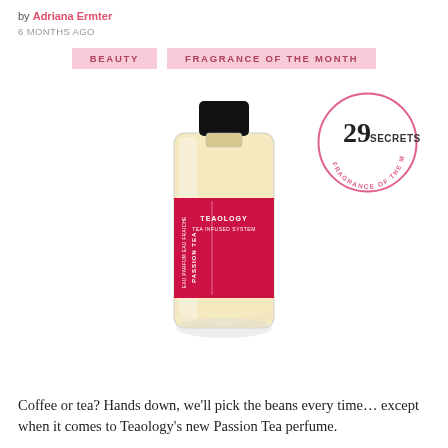by Adriana Ermter
6 MONTHS AGO
BEAUTY
FRAGRANCE OF THE MONTH
[Figure (photo): A tall clear glass perfume bottle with a black cap and red label reading TEAOLOGY PASSION TEA, next to a circular pink badge reading 29 SECRETS FRAGRANCE OF THE MONTH]
Coffee or tea? Hands down, we'll pick the beans every time… except when it comes to Teaology's new Passion Tea perfume.